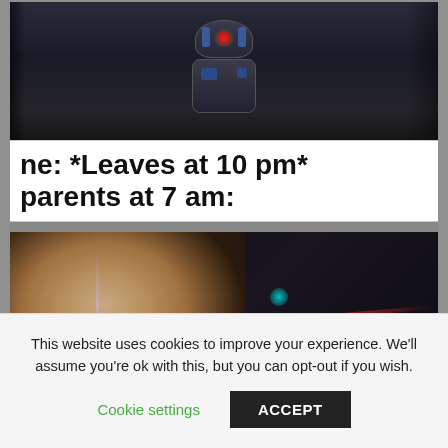[Figure (photo): Screenshot of a meme featuring Star Wars imagery. Top portion shows R2-D2 droid in a dark scene. Middle white text box reads 'ne: *Leaves at 10 pm* parents at 7 am:'. Bottom portion shows a young man's face (Han Solo character) with bokeh lights in the background.]
ne: *Leaves at 10 pm* parents at 7 am:
This website uses cookies to improve your experience. We'll assume you're ok with this, but you can opt-out if you wish.
Cookie settings
ACCEPT